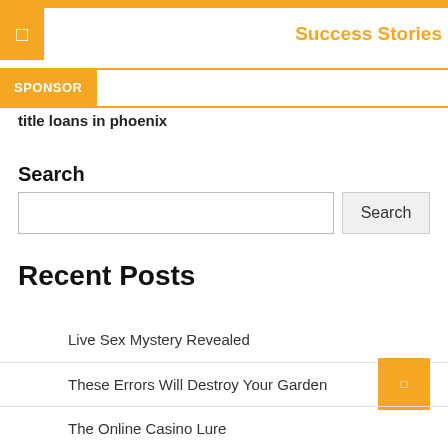Success Stories
SPONSOR
title loans in phoenix
Search
Recent Posts
Live Sex Mystery Revealed
These Errors Will Destroy Your Garden
The Online Casino Lure